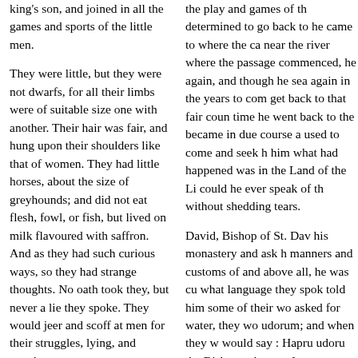king's son, and joined in all the games and sports of the little men.
They were little, but they were not dwarfs, for all their limbs were of suitable size one with another. Their hair was fair, and hung upon their shoulders like that of women. They had little horses, about the size of greyhounds; and did not eat flesh, fowl, or fish, but lived on milk flavoured with saffron. And as they had such curious ways, so they had strange thoughts. No oath took they, but never a lie they spoke. They would jeer and scoff at men for their struggles, lying, and treachery.
the play and games of th determined to go back to he came to where the ca near the river where the passage commenced, he again, and though he sea again in the years to com get back to that fair coun time he went back to the became in due course a used to come and seek h him what had happened was in the Land of the Li could he ever speak of th without shedding tears.
David, Bishop of St. Dav his monastery and ask h manners and customs of and above all, he was cu what language they spok told him some of their wo asked for water, they wo udorum; and when they w would say : Hapru udoru the Bishop, who was [